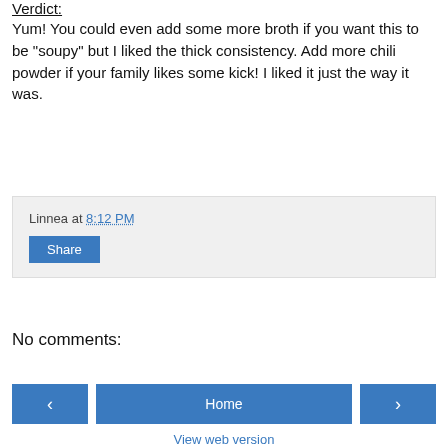Verdict:
Yum! You could even add some more broth if you want this to be "soupy" but I liked the thick consistency. Add more chili powder if your family likes some kick! I liked it just the way it was.
Linnea at 8:12 PM
Share
No comments:
Post a Comment
Home
View web version
Powered by Blogger.